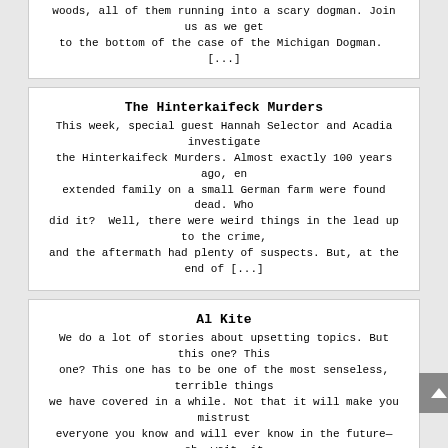woods, all of them running into a scary dogman. Join us as we get to the bottom of the case of the Michigan Dogman. [...]
The Hinterkaifeck Murders
This week, special guest Hannah Selector and Acadia investigate the Hinterkaifeck Murders. Almost exactly 100 years ago, an extended family on a small German farm were found dead. Who did it? Well, there were weird things in the lead up to the crime, and the aftermath had plenty of suspects. But, at the end of [...]
Al Kite
We do a lot of stories about upsetting topics. But this one? This one? This one has to be one of the most senseless, terrible things we have covered in a while. Not that it will make you mistrust everyone you know and will ever know in the future—oh, wait, it just might! The story [...]
Pedro Lopez - The Monster of the Andes
Pedro Lopez spent the 1970s in Peru, Ecuador, and Columbia. Over that time span he sexually abused and murdered more than 100 little girls. The only thing more chilling than the crimes of this guy is what ended up happening with him. Seriously you will not believe how this story ends. Join us as we [...]